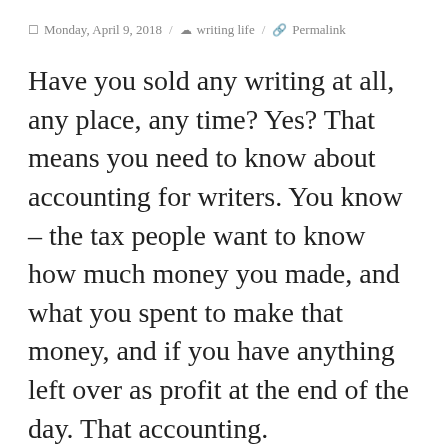Monday, April 9, 2018 / writing life / Permalink
Have you sold any writing at all, any place, any time? Yes? That means you need to know about accounting for writers. You know – the tax people want to know how much money you made, and what you spent to make that money, and if you have anything left over as profit at the end of the day. That accounting.
Unfortunately, I've never had a course in accounting. When I opened Mims House five years ago, I knew nothing. It's been a painful five years, partly because I was doing everything on a tight budget which didn't